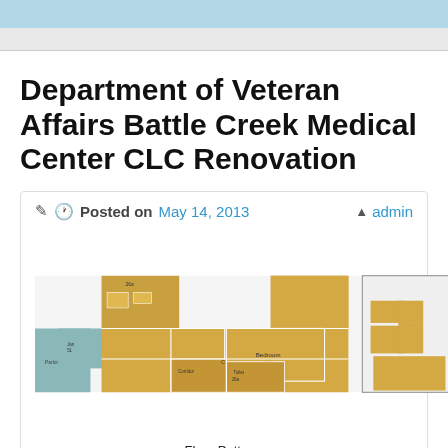Department of Veteran Affairs Battle Creek Medical Center CLC Renovation
Posted on May 14, 2013   admin
[Figure (schematic): Floor plan schematic showing Patient Room Entry layout with rooms labeled: 26a, 27a, Jan 51, Bedroom 28, Corridor, Toilet 26a, Parlor. Rooms shaded in tan/golden, teal/grey, and white outlines.]
Floor Pattern:
Patient Room Entry